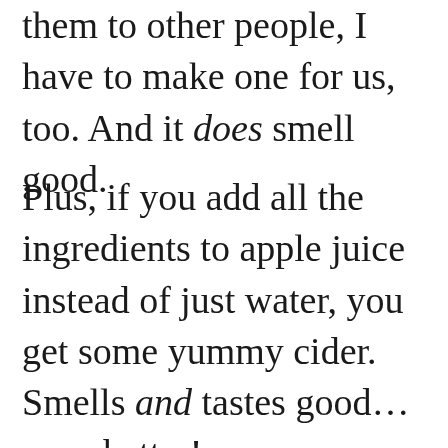them to other people, I have to make one for us, too. And it does smell good.
Plus, if you add all the ingredients to apple juice instead of just water, you get some yummy cider. Smells and tastes good…even better!